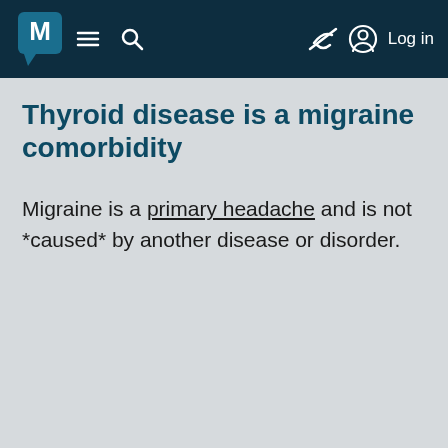Thyroid disease is a migraine comorbidity
Thyroid disease is a migraine comorbidity
Migraine is a primary headache and is not *caused* by another disease or disorder.